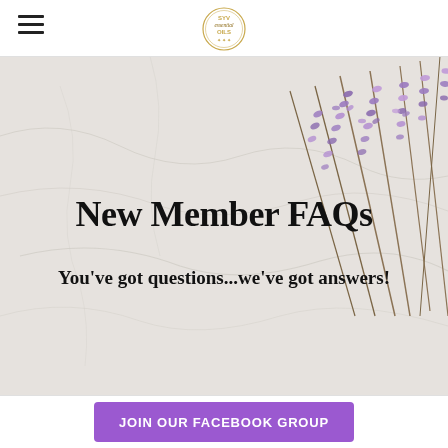SYV Essential Oils — navigation header with logo
[Figure (photo): Hero banner with marble background and lavender flowers in upper right corner]
New Member FAQs
You've got questions...we've got answers!
JOIN OUR FACEBOOK GROUP